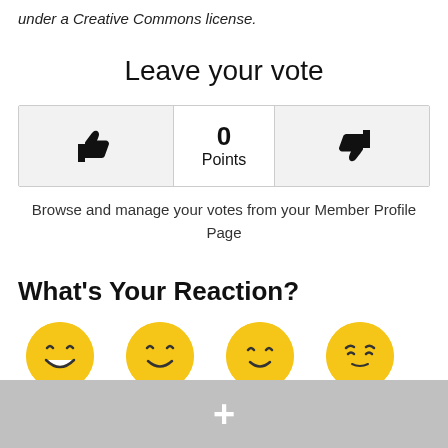under a Creative Commons license.
Leave your vote
[Figure (other): Vote widget with thumbs up on left, 0 Points in center, thumbs down on right]
Browse and manage your votes from your Member Profile Page
What's Your Reaction?
[Figure (other): Row of emoji reaction faces partially visible]
[Figure (other): Gray bottom bar with white plus icon]